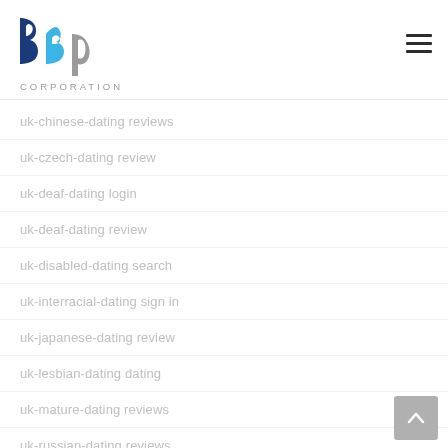[Figure (logo): BBP Corporation logo with blue and gray lettering]
uk-chinese-dating reviews
uk-czech-dating review
uk-deaf-dating login
uk-deaf-dating review
uk-disabled-dating search
uk-interracial-dating sign in
uk-japanese-dating review
uk-lesbian-dating dating
uk-mature-dating reviews
uk-russian-dating reviews